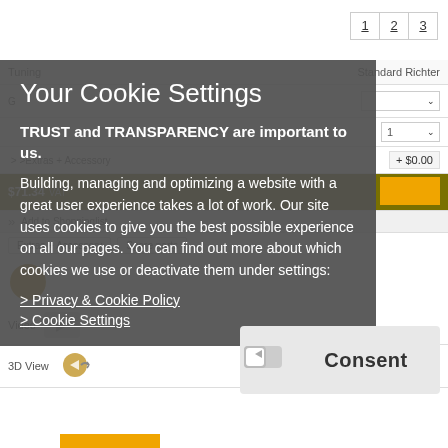[Figure (screenshot): Background website page showing a product configurator with tuning/standard Richter options, dropdown menus, price display ($71.34), tabs for Extras+Accessory and Spare parts, Video section, and 3D View section. Navigation numbers 1, 2, 3 visible in top right.]
Your Cookie Settings
TRUST and TRANSPARENCY are important to us.
Building, managing and optimizing a website with a great user experience takes a lot of work. Our site uses cookies to give you the best possible experience on all our pages. You can find out more about which cookies we use or deactivate them under settings:
> Privacy & Cookie Policy
> Cookie Settings
[Figure (screenshot): Consent button area showing a toggle/video icon and a grey Consent button]